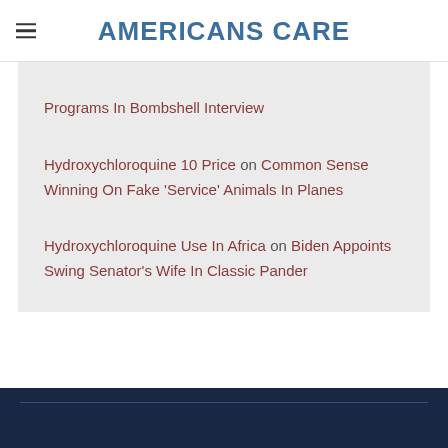AMERICANS CARE
Programs In Bombshell Interview
Hydroxychloroquine 10 Price on Common Sense Winning On Fake 'Service' Animals In Planes
Hydroxychloroquine Use In Africa on Biden Appoints Swing Senator's Wife In Classic Pander